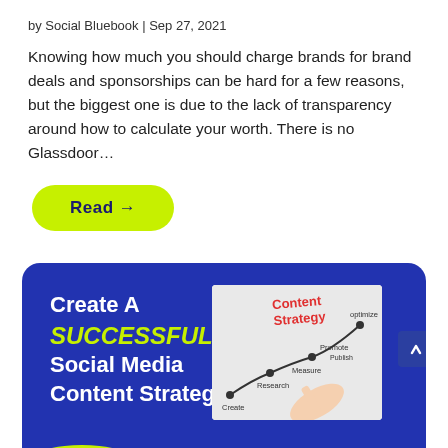by Social Bluebook | Sep 27, 2021
Knowing how much you should charge brands for brand deals and sponsorships can be hard for a few reasons, but the biggest one is due to the lack of transparency around how to calculate your worth. There is no Glassdoor…
Read →
[Figure (infographic): Dark blue card with white text reading 'Create A SUCCESSFUL Social Media Content Strategy' with a thumbnail image showing a hand-drawn content strategy diagram with the words Content Strategy, optimize, Measure, Promote, Publish, Create, Research. Yellow hill shapes at the bottom.]